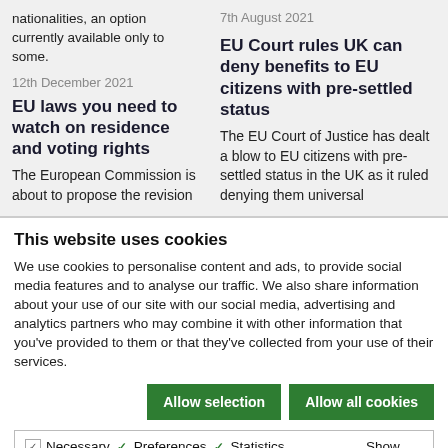nationalities, an option currently available only to some.
12th December 2021
EU laws you need to watch on residence and voting rights
The European Commission is about to propose the revision
7th August 2021
EU Court rules UK can deny benefits to EU citizens with pre-settled status
The EU Court of Justice has dealt a blow to EU citizens with pre-settled status in the UK as it ruled denying them universal
This website uses cookies
We use cookies to personalise content and ads, to provide social media features and to analyse our traffic. We also share information about your use of our site with our social media, advertising and analytics partners who may combine it with other information that you've provided to them or that they've collected from your use of their services.
Allow selection
Allow all cookies
Necessary  Preferences  Statistics  Marketing  Show details